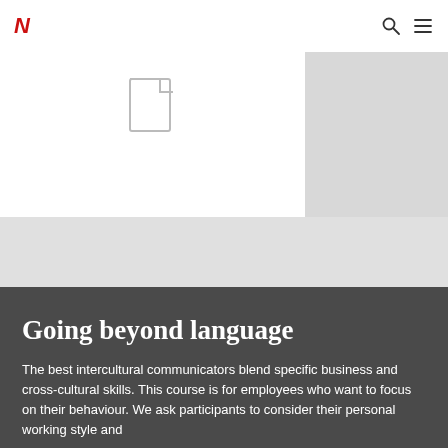N (logo) — search icon — menu icon
[Figure (screenshot): Website screenshot showing a white content area with a faint document/page icon outline, a light gray background panel, and a darker gray right column. Below is a neutral gray band.]
Going beyond language
The best intercultural communicators blend specific business and cross-cultural skills. This course is for employees who want to focus on their behaviour. We ask participants to consider their personal working style and